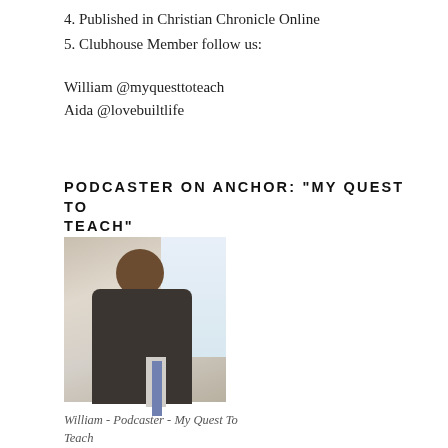4. Published in Christian Chronicle Online
5. Clubhouse Member follow us:
William @myquesttoteach
Aida @lovebuiltlife
PODCASTER ON ANCHOR: “MY QUEST TO TEACH”
[Figure (photo): Portrait photo of William, a man in a dark suit with a tie, smiling, standing indoors near a window with bright light.]
William - Podcaster - My Quest To Teach